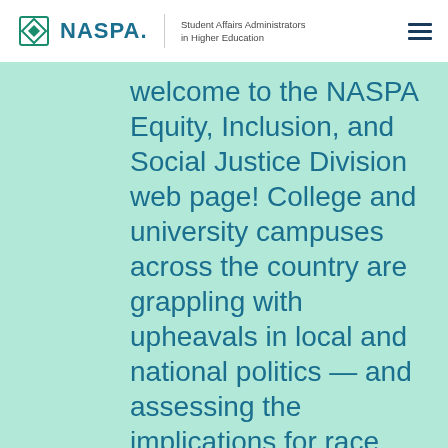NASPA Student Affairs Administrators in Higher Education
welcome to the NASPA Equity, Inclusion, and Social Justice Division web page! College and university campuses across the country are grappling with upheavals in local and national politics — and assessing the implications for race